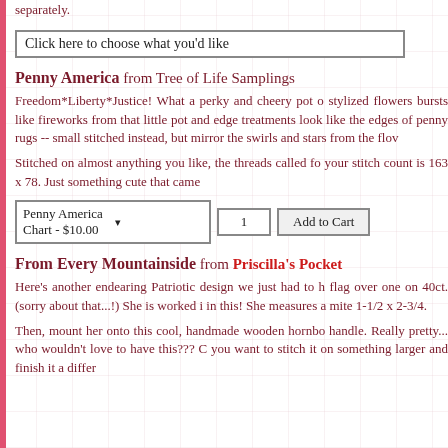separately.
Click here to choose what you'd like
Penny America from Tree of Life Samplings
Freedom*Liberty*Justice! What a perky and cheery pot o stylized flowers bursts like fireworks from that little pot and edge treatments look like the edges of penny rugs -- small stitched instead, but mirror the swirls and stars from the flow
Stitched on almost anything you like, the threads called fo your stitch count is 163 x 78. Just something cute that came
Penny America Chart - $10.00  1  Add to Cart
From Every Mountainside from Priscilla's Pocket
Here's another endearing Patriotic design we just had to h flag over one on 40ct. (sorry about that...!) She is worked i in this! She measures a mite 1-1/2 x 2-3/4.
Then, mount her onto this cool, handmade wooden hornbo handle. Really pretty... who wouldn't love to have this??? C you want to stitch it on something larger and finish it a differ